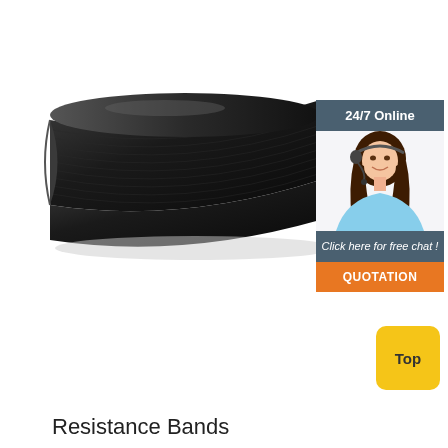[Figure (photo): Black resistance band / exercise mat rolled out, photographed on white background]
[Figure (infographic): 24/7 Online chat widget with woman wearing headset, blue-grey header, orange QUOTATION button]
[Figure (other): Yellow rounded square 'Top' button]
Resistance Bands